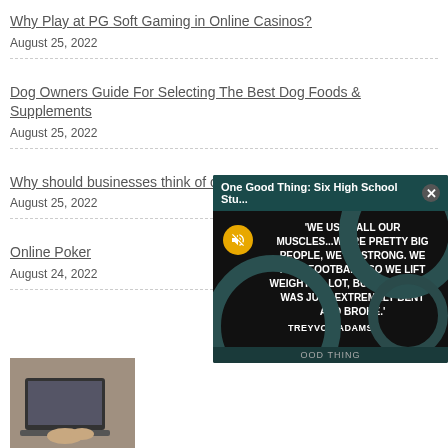Why Play at PG Soft Gaming in Online Casinos?
August 25, 2022
Dog Owners Guide For Selecting The Best Dog Foods & Supplements
August 25, 2022
Why should businesses think of custom socks?
August 25, 2022
Online Poker
August 24, 2022
[Figure (screenshot): Video ad overlay with dark teal header reading 'One Good Thing: Six High School Stu...' with close button, muted video showing quote: 'WE USED ALL OUR MUSCLES...WE'RE PRETTY BIG PEOPLE, WE'RE STRONG. WE PLAY FOOTBALL, SO WE LIFT WEIGHTS A LOT, BUT (THE DOOR) WAS JUST EXTREMELY BENT AND BROKE.' attributed to TREYVON ADAMS. Footer shows 'OOD THING' label.]
[Figure (photo): Partial thumbnail image showing person's hands on a laptop keyboard.]